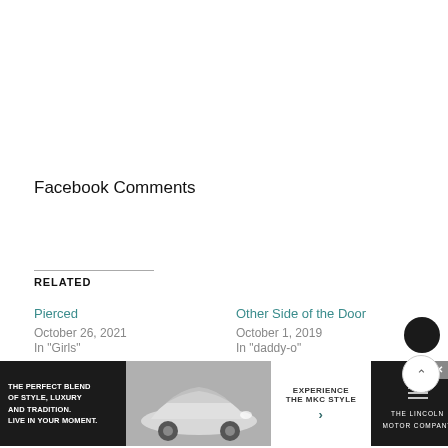Facebook Comments
RELATED
Pierced
October 26, 2021
In "Girls"
Other Side of the Door
October 1, 2019
In "daddy-o"
It's a Dad Thing
June 8…
In "Po…"
[Figure (screenshot): Advertisement banner: The Lincoln MKC — 'The perfect blend of style, luxury and tradition. Live in your moment.' with car image, 'Experience the MKC Style' CTA, and Lincoln Motor Company logo.]